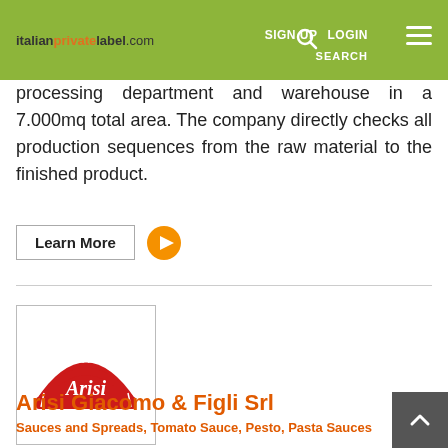italianprivatelabel.com | SIGN UP | LOGIN | SEARCH
processing department and warehouse in a 7.000mq total area. The company directly checks all production sequences from the raw material to the finished product.
Learn More
[Figure (logo): Arisi brand logo — red arch-shaped banner with white italic text 'Arisi' and decorative fork/spoon motif]
Arisi Giacomo & Figli Srl
Sauces and Spreads, Tomato Sauce, Pesto, Pasta Sauces